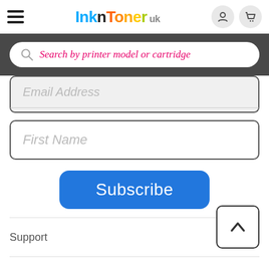InknToner UK
[Figure (screenshot): Search bar with placeholder text 'Search by printer model or cartridge' on dark background]
Email Address
First Name
Subscribe
Support
Services
Offers